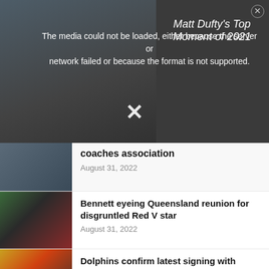[Figure (screenshot): Video player showing error message overlay: 'The media could not be loaded, either because the server or network failed or because the format is not supported.' with title 'Matt Dufty's Top Moment of 2021' on right side]
coaches association
August 31, 2022
Bennett eyeing Queensland reunion for disgruntled Red V star
August 31, 2022
Dolphins confirm latest signing with young fullback receiving opportunity
August 31, 2022
North Queensland re-sign young forward on long-term deal
August 31, 2022
Titans confirm new addition for 2023